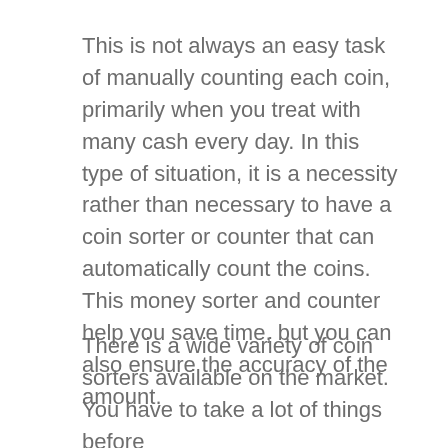This is not always an easy task of manually counting each coin, primarily when you treat with many cash every day. In this type of situation, it is a necessity rather than necessary to have a coin sorter or counter that can automatically count the coins. This money sorter and counter help you save time, but you can also ensure the accuracy of the amount.
There is a wide variety of coin sorters available on the market. You have to take a lot of things before